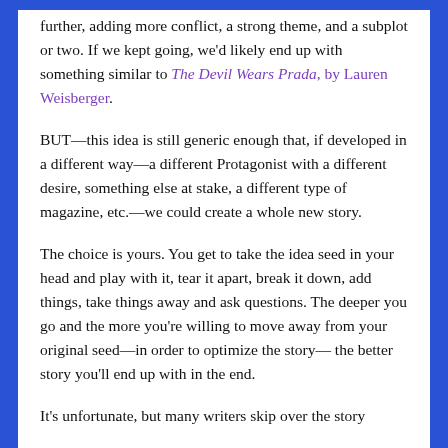further, adding more conflict, a strong theme, and a subplot or two. If we kept going, we'd likely end up with something similar to The Devil Wears Prada, by Lauren Weisberger.
BUT—this idea is still generic enough that, if developed in a different way—a different Protagonist with a different desire, something else at stake, a different type of magazine, etc.—we could create a whole new story.
The choice is yours. You get to take the idea seed in your head and play with it, tear it apart, break it down, add things, take things away and ask questions. The deeper you go and the more you're willing to move away from your original seed—in order to optimize the story— the better story you'll end up with in the end.
It's unfortunate, but many writers skip over the story